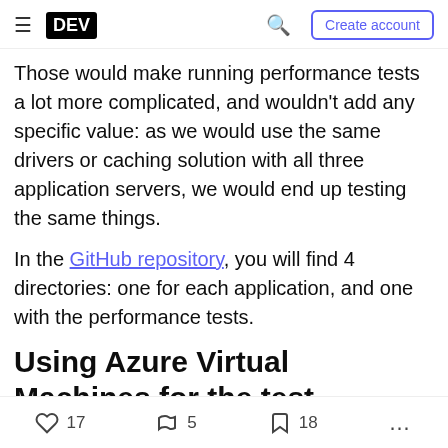≡ DEV | Search | Create account
Those would make running performance tests a lot more complicated, and wouldn't add any specific value: as we would use the same drivers or caching solution with all three application servers, we would end up testing the same things.
In the GitHub repository, you will find 4 directories: one for each application, and one with the performance tests.
Using Azure Virtual Machines for the test
As we needed to set up a test environment, using
♡ 17   🔥 5   🔖 18   ...